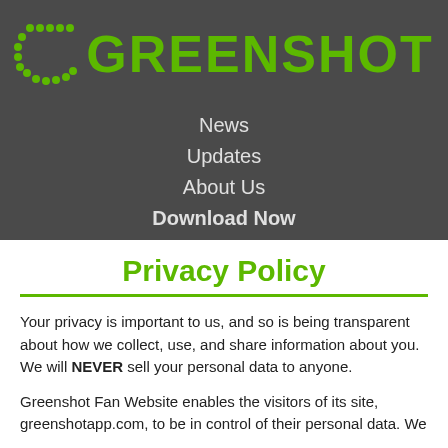[Figure (logo): Greenshot logo with green dotted/pixelated C icon and GREENSHOT text in green pixel-style font on dark grey background]
News
Updates
About Us
Download Now
Privacy Policy
Your privacy is important to us, and so is being transparent about how we collect, use, and share information about you. We will NEVER sell your personal data to anyone.
Greenshot Fan Website enables the visitors of its site, greenshotapp.com, to be in control of their personal data. We